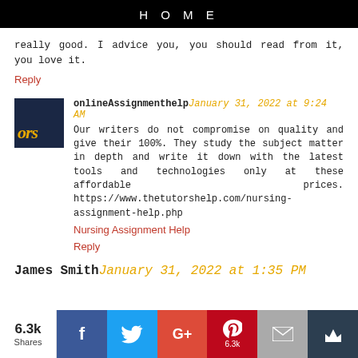HOME
really good. I advice you, you should read from it, you love it.
Reply
onlineAssignmenthelp January 31, 2022 at 9:24 AM
Our writers do not compromise on quality and give their 100%. They study the subject matter in depth and write it down with the latest tools and technologies only at these affordable prices. https://www.thetutorshelp.com/nursing-assignment-help.php
Nursing Assignment Help
Reply
James Smith January 31, 2022 at 1:35 PM
[Figure (infographic): Social sharing bar with 6.3k shares, Facebook, Twitter, Google+, Pinterest (6.3k), Email, and Crown buttons]